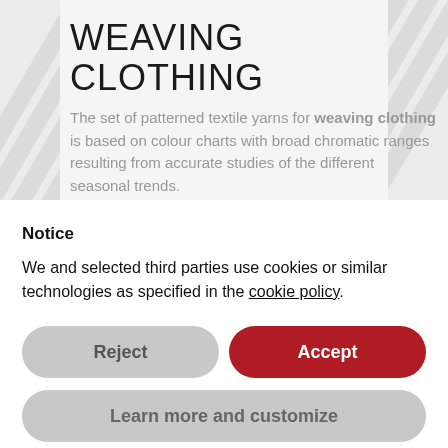[Figure (screenshot): Hero banner with diagonal stripe pattern background in light gray, showing WEAVING CLOTHING title and descriptive text]
WEAVING CLOTHING
The set of patterned textile yarns for weaving clothing is based on colour charts with broad chromatic ranges resulting from accurate studies of the different seasonal trends.
Notice
We and selected third parties use cookies or similar technologies as specified in the cookie policy.
Reject
Accept
Learn more and customize